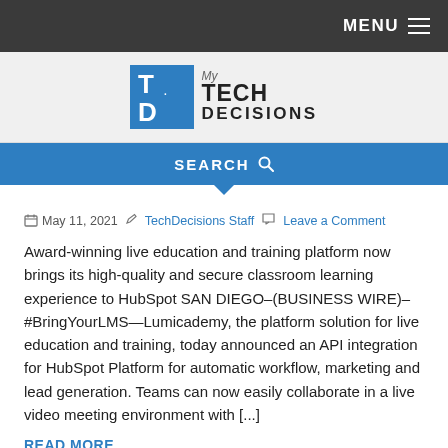MENU
[Figure (logo): My TechDecisions logo with blue TD icon and text]
SEARCH
May 11, 2021  TechDecisions Staff  Leave a Comment
Award-winning live education and training platform now brings its high-quality and secure classroom learning experience to HubSpot SAN DIEGO–(BUSINESS WIRE)–#BringYourLMS—Lumicademy, the platform solution for live education and training, today announced an API integration for HubSpot Platform for automatic workflow, marketing and lead generation. Teams can now easily collaborate in a live video meeting environment with [...]
READ MORE